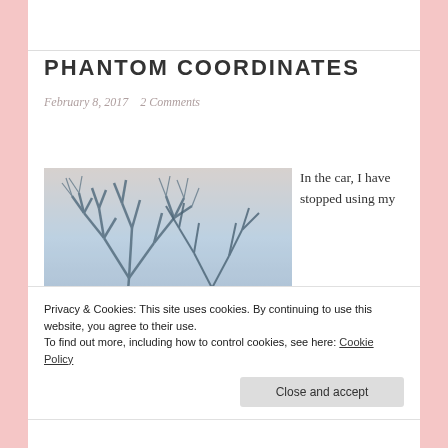PHANTOM COORDINATES
February 8, 2017   2 Comments
[Figure (photo): Winter bare trees against a pale sky, blue-toned photograph taken from below looking up]
In the car, I have stopped using my
Privacy & Cookies: This site uses cookies. By continuing to use this website, you agree to their use.
To find out more, including how to control cookies, see here: Cookie Policy
Close and accept